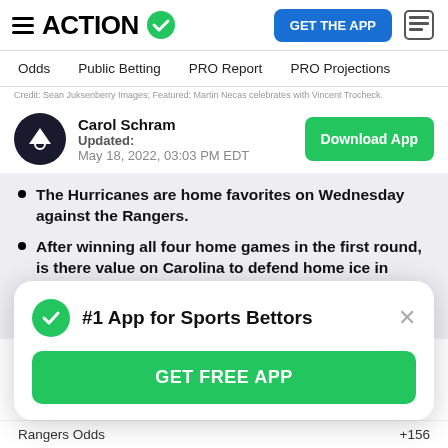ACTION (logo with checkmark) | GET THE APP | news icon
Odds | Public Betting | PRO Report | PRO Projections
Credit: Sean Juksenberry Images; Featured: Martin Necas celebrates with Vincent Trocheck.
Carol Schram
Updated:
May 18, 2022, 03:03 PM EDT
Download App
The Hurricanes are home favorites on Wednesday against the Rangers.
After winning all four home games in the first round, is there value on Carolina to defend home ice in Game 1?
Carol Schram breaks down the matchup and
#1 App for Sports Bettors
GET FREE APP
Rangers Odds    +156